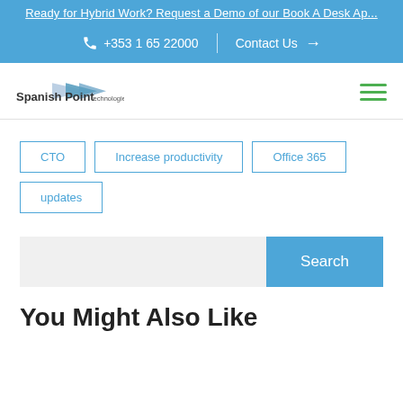Ready for Hybrid Work? Request a Demo of our Book A Desk Ap...
+353 1 65 22000 | Contact Us →
[Figure (logo): Spanish Point technologies ltd logo with arrow/bowtie graphic icon]
CTO
Increase productivity
Office 365
updates
Search
You Might Also Like